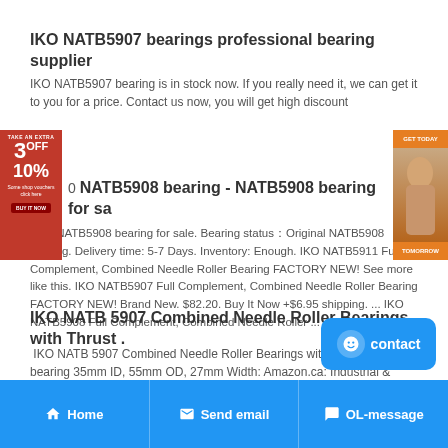IKO NATB5907 bearings professional bearing supplier
IKO NATB5907 bearing is in stock now. If you really need it, we can get it to you for a price. Contact us now, you will get high discount
[Figure (infographic): Red advertisement banner with '3OFF 10%' text]
[Figure (photo): Right side advertisement with person image and orange/brown colors]
IKO NATB5908 bearing - NATB5908 bearing for sa
IKO NATB5908 bearing for sale. Bearing status：Original NATB5908 bearing. Delivery time: 5-7 Days. Inventory: Enough. IKO NATB5911 Full Complement, Combined Needle Roller Bearing FACTORY NEW! See more like this. IKO NATB5907 Full Complement, Combined Needle Roller Bearing FACTORY NEW! Brand New. $82.20. Buy It Now +$6.95 shipping. ... IKO NATB5908 Full Complement, Combined Needle Roller ...
IKO NATB 5907 Combined Needle Roller Bearings with Thrust .
IKO NATB 5907 Combined Needle Roller Bearings with Thrust ball bearing 35mm ID, 55mm OD, 27mm Width: Amazon.ca: Industrial & Scientific
[Figure (infographic): Blue contact button with smiley icon and 'contact' text]
Home   Send email   OL-message